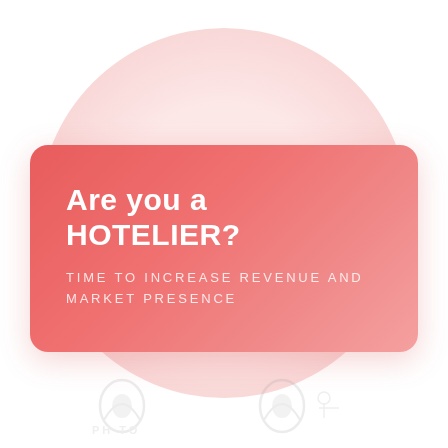[Figure (illustration): Large light pink circle background shape centered on the page]
Are you a HOTELIER?
TIME TO INCREASE REVENUE AND MARKET PRESENCE
[Figure (logo): Watermark logos at the bottom of the page, partially visible, light gray]